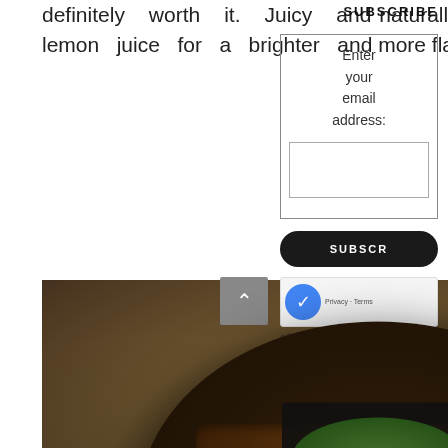definitely worth it. Juicy and naturally sweet, squeeze some lemon juice for a brighter and more flavorful taste.
[Figure (photo): A black stone bowl (ishiyaki) filled with garlic fried rice topped with roasted eel pieces, garnished with seaweed flakes and green onions, placed on a wooden board. A small bowl of sauce is visible in the background.]
Unagi Garlic Rice Ishiyaki
Roasted eel atop fragrant garlic fried rice, garnished with seaweed flakes, white sesame seeds, fried garlic chips and
SUBSCRIBE
Enter your email address:
SUBSCR
elivered
Fee